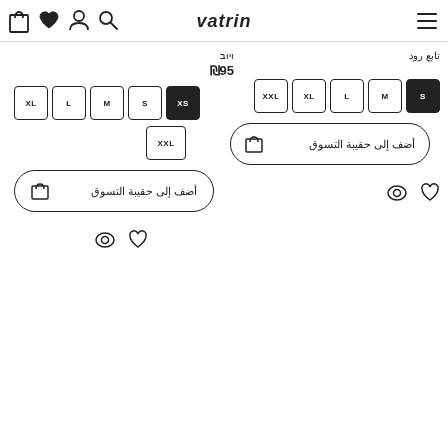vatrin — navigation bar with cart, heart, user, search icons and hamburger menu
ויוב ₪95
Size options left: XL, L, M, S, XS (selected), XXL
Add to cart button (left): أضف إلى حقيبة التسوق
Size options right: XXL, XL, L, M, S (selected)
Add to cart button (right): أضف إلى حقيبة التسوق
Eye and heart icons (left panel)
Eye and heart icons (right panel)